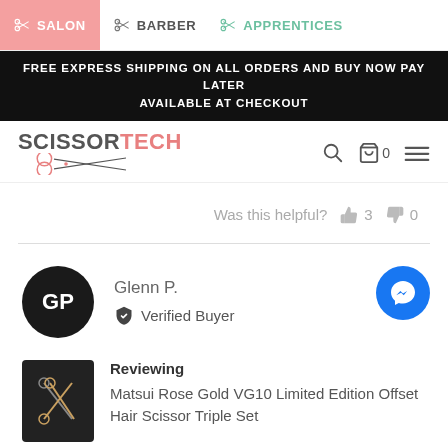SALON | BARBER | APPRENTICES
FREE EXPRESS SHIPPING ON ALL ORDERS AND BUY NOW PAY LATER AVAILABLE AT CHECKOUT
[Figure (logo): ScissorTech logo with scissors icon]
Was this helpful? 👍 3 👎 0
Glenn P. - Verified Buyer
Reviewing
Matsui Rose Gold VG10 Limited Edition Offset Hair Scissor Triple Set